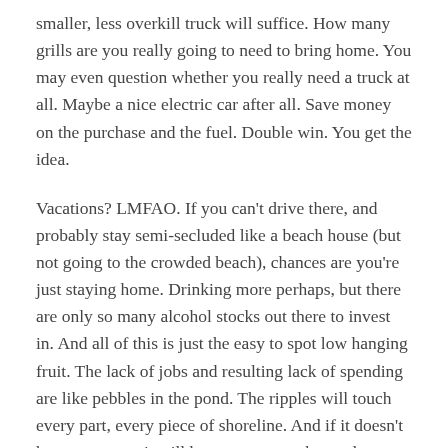smaller, less overkill truck will suffice. How many grills are you really going to need to bring home. You may even question whether you really need a truck at all. Maybe a nice electric car after all. Save money on the purchase and the fuel. Double win. You get the idea.
Vacations? LMFAO. If you can't drive there, and probably stay semi-secluded like a beach house (but not going to the crowded beach), chances are you're just staying home. Drinking more perhaps, but there are only so many alcohol stocks out there to invest in. And all of this is just the easy to spot low hanging fruit. The lack of jobs and resulting lack of spending are like pebbles in the pond. The ripples will touch every part, every piece of shoreline. And if it doesn't happen to you, it will happen to enough people you know to scare you.